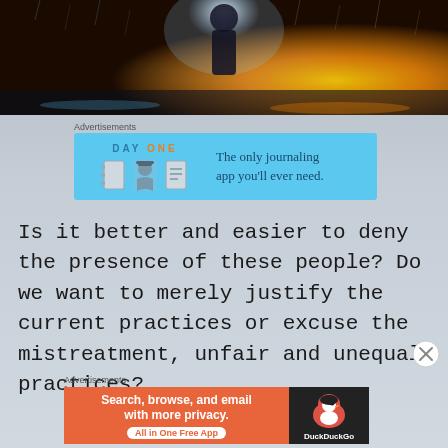[Figure (photo): Atmospheric photo of a silhouetted figure in the rain with colorful bokeh lights, blue on the left and orange/gold on the right.]
[Figure (infographic): DayOne journaling app advertisement banner with sky-blue background, showing DAY ONE logo, three icons (notebook, person, list), and text: The only journaling app you'll ever need.]
Is it better and easier to deny the presence of these people? Do we want to merely justify the current practices or excuse the mistreatment, unfair and unequal practices?
[Figure (infographic): DuckDuckGo advertisement: orange left panel saying Search, browse, and email with more privacy. All in One Free App. Black right panel with DuckDuckGo duck logo.]